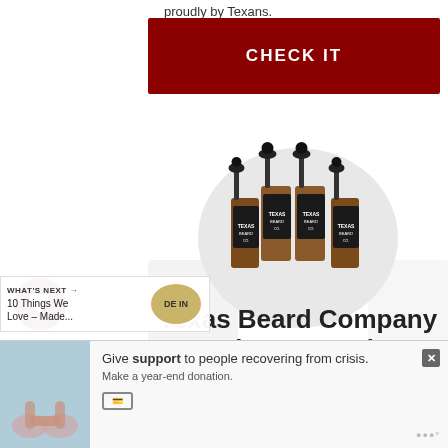proudly by Texans.
CHECK IT
[Figure (photo): Four amber dropper bottles of Texas Beard Company beard oil products with black labels, arranged in a group on a circular white/grey background.]
Texas Beard Company Beard Care Products
[Figure (infographic): Left sidebar with a dark red circular heart (like/save) icon button and a share icon button.]
WHAT'S NEXT → 10 Things We Love – Made...
[Figure (photo): Circular thumbnail image showing a sandy/beach scene, labeled DE IN.]
[Figure (screenshot): Bottom advertisement banner: Give support to people recovering from crisis. Make a year-end donation. With a close X button and a payment icon.]